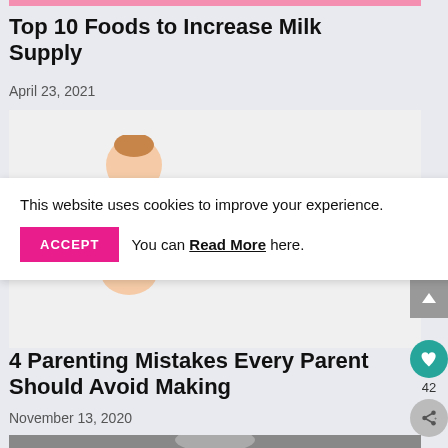[Figure (photo): Pink banner strip at top of page]
Top 10 Foods to Increase Milk Supply
April 23, 2021
[Figure (photo): Baby/infant photo, partially visible, light background]
This website uses cookies to improve your experience. ACCEPT You can Read More here.
4 Parenting Mistakes Every Parent Should Avoid Making
November 13, 2020
[Figure (photo): Black and white photo, partially visible at bottom]